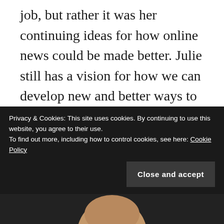job, but rather it was her continuing ideas for how online news could be made better. Julie still has a vision for how we can develop new and better ways to tell stories online.  We need someone with that vision to help our team craft dynamic, interesting and useful news resources for our local sites.  It helps that Julie's pretty familiar with forging her own path in this crazy digital journalism world – she held experimental roles at TBD and KPCC – because we need her to shape this team from an idea into a key part of Digital First's news
Privacy & Cookies: This site uses cookies. By continuing to use this website, you agree to their use.
To find out more, including how to control cookies, see here: Cookie Policy
[Figure (photo): Bottom strip showing top of a person's head/hair against dark background]